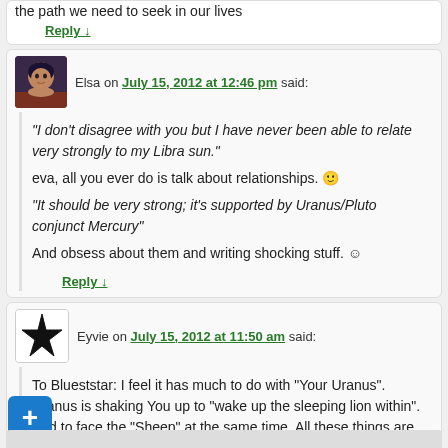the path we need to seek in our lives
Reply ↓
Elsa on July 15, 2012 at 12:46 pm said:
"I don't disagree with you but I have never been able to relate very strongly to my Libra sun."
eva, all you ever do is talk about relationships. 🙂
"It should be very strong; it's supported by Uranus/Pluto conjunct Mercury"
And obsess about them and writing shocking stuff. ☺
Reply ↓
Eyvie on July 15, 2012 at 11:50 am said:
To Blueststar: I feel it has much to do with "Your Uranus". Uranus is shaking You up to "wake up the sleeping lion within". And to face the "Sheep" at the same time. All these things are connected. ☺
Reply ↓